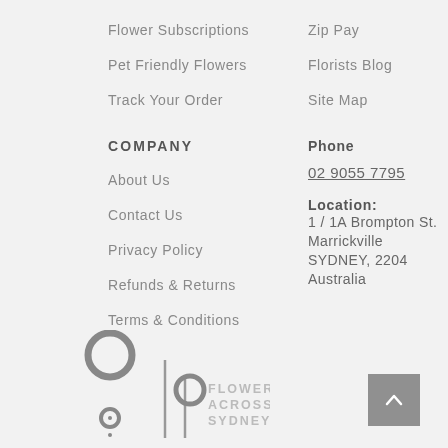Flower Subscriptions
Pet Friendly Flowers
Track Your Order
Zip Pay
Florists Blog
Site Map
COMPANY
About Us
Contact Us
Privacy Policy
Refunds & Returns
Terms & Conditions
Phone
02 9055 7795
Location:
1 / 1A Brompton St.
Marrickville
SYDNEY, 2204
Australia
[Figure (logo): Flowers Across Sydney logo with concentric circle motif and text FLOWERS ACROSS SYDNEY]